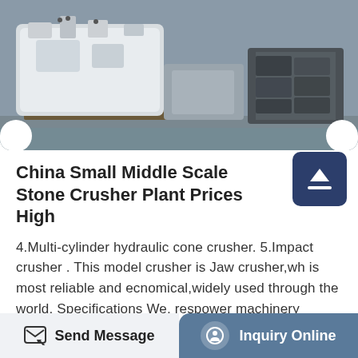[Figure (photo): Industrial stone crusher plant machinery, white large equipment on a factory floor]
China Small Middle Scale Stone Crusher Plant Prices High
4.Multi-cylinder hydraulic cone crusher. 5.Impact crusher . This model crusher is Jaw crusher,wh is most reliable and ecnomical,widely used through the world. Specifications We, respower machinery makes jaw crusher taht has different production capacities. This jaw crusher can be used as only crushing plant,suitable for small middle scale site.
Get Price
Send Message    Inquiry Online